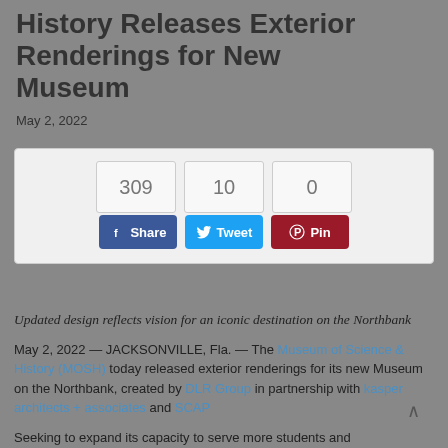History Releases Exterior Renderings for New Museum
May 2, 2022
[Figure (screenshot): Social share widget showing counts: 309 shares on Facebook, 10 tweets, 0 pins. Three buttons: Share (Facebook, blue), Tweet (Twitter, light blue), Pin (Pinterest, dark red).]
Updated design reflects vision for an iconic destination on the Northbank
May 2, 2022 — JACKSONVILLE, Fla. — The Museum of Science & History (MOSH) today released exterior renderings for its new Museum on the Northbank, created by DLR Group in partnership with kasper architects + associates and SCAP
Seeking to expand its capacity to serve more students and